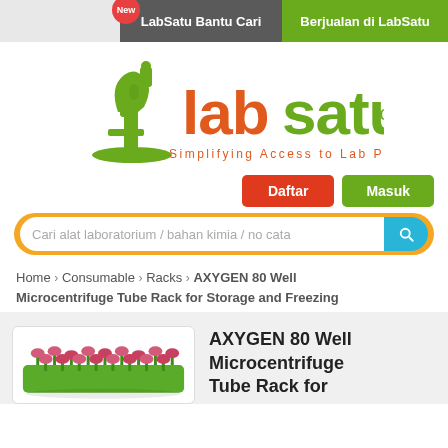LabSatu Bantu Cari | Berjualan di LabSatu
[Figure (logo): LabSatu.com logo — green microscope icon with orange 'lab' and green 'satu.com' text, tagline: Simplifying Access to Lab Products]
Daftar | Masuk
Cari alat laboratorium / bahan kimia / no cata
Home > Consumable > Racks > AXYGEN 80 Well Microcentrifuge Tube Rack for Storage and Freezing
AXYGEN 80 Well Microcentrifuge Tube Rack for
[Figure (photo): Photo of AXYGEN 80 Well Microcentrifuge Tube Rack showing green base with pink/red tube caps arranged in rows]